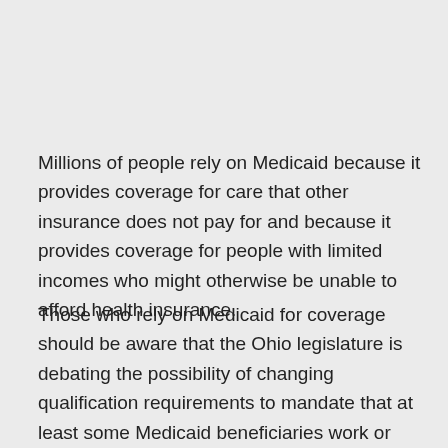Millions of people rely on Medicaid because it provides coverage for care that other insurance does not pay for and because it provides coverage for people with limited incomes who might otherwise be unable to afford health insurance.
Those who rely on Medicaid for coverage should be aware that the Ohio legislature is debating the possibility of changing qualification requirements to mandate that at least some Medicaid beneficiaries work or volunteer in order to be eligible for Medicaid coverage.